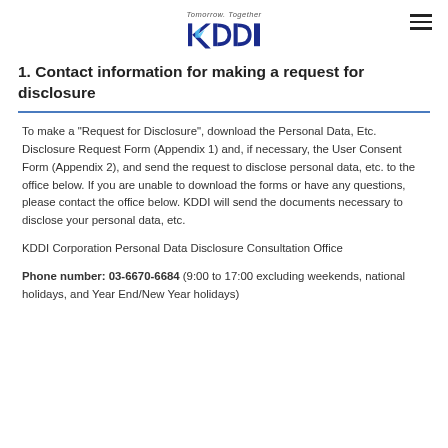Tomorrow. Together KDDI
1. Contact information for making a request for disclosure
To make a "Request for Disclosure", download the Personal Data, Etc. Disclosure Request Form (Appendix 1) and, if necessary, the User Consent Form (Appendix 2), and send the request to disclose personal data, etc. to the office below. If you are unable to download the forms or have any questions, please contact the office below. KDDI will send the documents necessary to disclose your personal data, etc.
KDDI Corporation Personal Data Disclosure Consultation Office
Phone number: 03-6670-6684 (9:00 to 17:00 excluding weekends, national holidays, and Year End/New Year holidays)